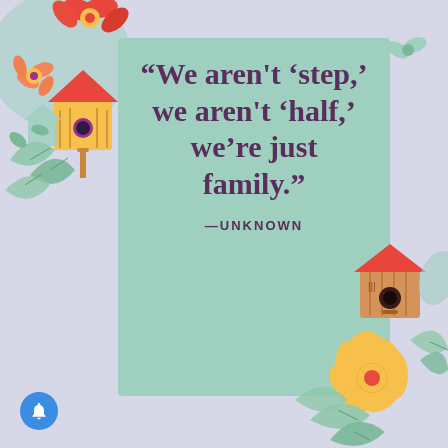[Figure (illustration): Decorative quote card with mint green background featuring birdhouses, flowers, and leaves illustrations. Quote reads: "We aren't 'step,' we aren't 'half,' we're just family." attributed to —UNKNOWN. Lavender/purple page background with decorative botanical and birdhouse illustrations in corners.]